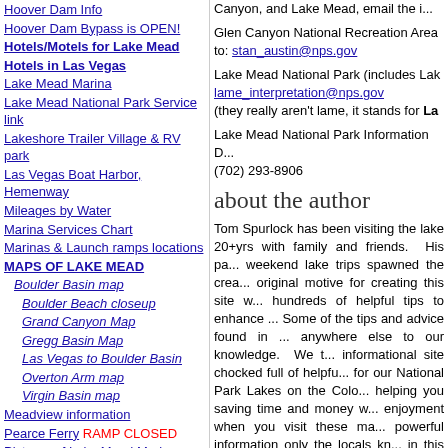Hoover Dam Info
Hoover Dam Bypass is OPEN!
Hotels/Motels for Lake Mead
Hotels in Las Vegas
Lake Mead Marina
Lake Mead National Park Service link
Lakeshore Trailer Village & RV park
Las Vegas Boat Harbor, Hemenway
Mileages by Water
Marina Services Chart
Marinas & Launch ramps locations
MAPS OF LAKE MEAD
Boulder Basin map
Boulder Beach closeup
Grand Canyon Map
Gregg Basin Map
Las Vegas to Boulder Basin
Overton Arm map
Virgin Basin map
Meadview information
Pearce Ferry RAMP CLOSED
Pictures of Lake Mead Marinas
Pictures of other launch ramps
Phone Numbers of Importance
Glen Canyon National Recreation Area to: stan_austin@nps.gov
Lake Mead National Park (includes Lake... lame_interpretation@nps.gov (they really aren't lame, it stands for La...
Lake Mead National Park Information D... (702) 293-8906
about the author
Tom Spurlock has been visiting the lake 20+yrs with family and friends. His pa... weekend lake trips spawned the crea... original motive for creating this site w... hundreds of helpful tips to enhance ... Some of the tips and advice found in ... anywhere else to our knowledge. We t... informational site chocked full of helpfu... for our National Park Lakes on the Colo... helping you saving time and money w... enjoyment when you visit these ma... powerful information only the locals kn... in this site is typically learned only b... exploring our website can help you get... you Enjoy!